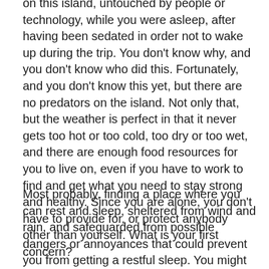on this island, untouched by people or technology, while you were asleep, after having been sedated in order not to wake up during the trip. You don't know why, and you don't know who did this. Fortunately, and you don't know this yet, but there are no predators on the island. Not only that, but the weather is perfect in that it never gets too hot or too cold, too dry or too wet, and there are enough food resources for you to live on, even if you have to work to find and get what you need to stay strong and healthy. Since you are alone, you don't have to provide for, or protect anybody other than yourself. What is your first concern?
Most probably, finding a place where you can rest and sleep, sheltered from wind and rain, and safeguarded from possible dangers or annoyances that could prevent you from getting a restful sleep. You might eventually build